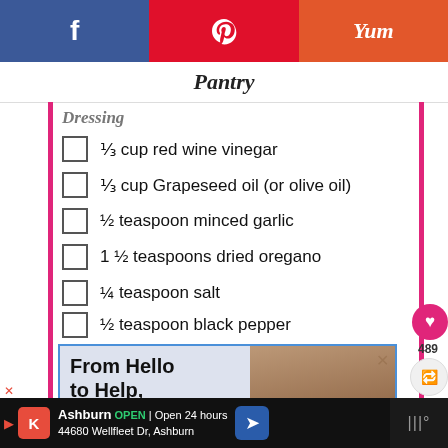Pantry
Dressing
⅓ cup red wine vinegar
⅓ cup Grapeseed oil (or olive oil)
½ teaspoon minced garlic
1 ½ teaspoons dried oregano
¼ teaspoon salt
½ teaspoon black pepper
[Figure (screenshot): Advertisement banner: 'From Hello to Help, 211 is Here' with image of a child]
Ashburn OPEN | Open 24 hours | 44680 Wellfleet Dr, Ashburn